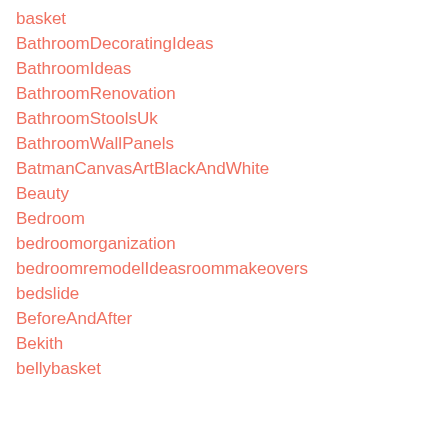basket
BathroomDecoratingIdeas
BathroomIdeas
BathroomRenovation
BathroomStoolsUk
BathroomWallPanels
BatmanCanvasArtBlackAndWhite
Beauty
Bedroom
bedroomorganization
bedroomremodelIdeasroommakeovers
bedslide
BeforeAndAfter
Bekith
bellybasket